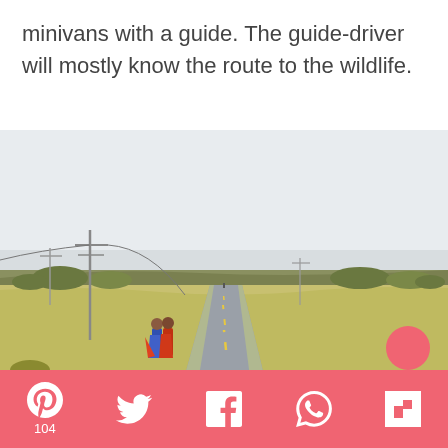minivans with a guide. The guide-driver will mostly know the route to the wildlife.
[Figure (photo): Road scene in African savanna with two people in traditional Maasai clothing standing on the side of a long straight road stretching into the distance, with scrubland, trees, and telephone poles on either side under a hazy sky.]
Pinterest 104, Twitter, Facebook, WhatsApp, Flipboard